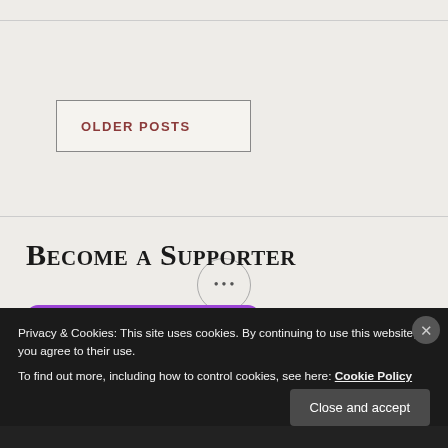OLDER POSTS
[Figure (other): Ellipsis (three dots) inside a circle, serving as a decorative or navigation element]
Become a Supporter
[Figure (other): Purple rounded button with a jar icon]
Privacy & Cookies: This site uses cookies. By continuing to use this website, you agree to their use.
To find out more, including how to control cookies, see here: Cookie Policy
Close and accept